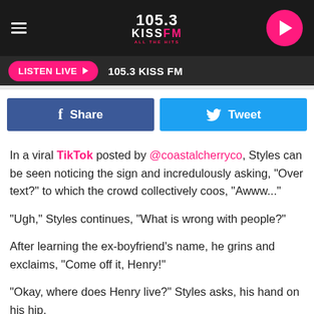105.3 KISS FM ALL THE HITS
LISTEN LIVE ▶  105.3 KISS FM
[Figure (screenshot): Facebook Share button and Twitter Tweet button]
In a viral TikTok posted by @coastalcherryco, Styles can be seen noticing the sign and incredulously asking, "Over text?" to which the crowd collectively coos, "Awww..."
"Ugh," Styles continues, "What is wrong with people?"
After learning the ex-boyfriend's name, he grins and exclaims, "Come off it, Henry!"
"Okay, where does Henry live?" Styles asks, his hand on his hip.